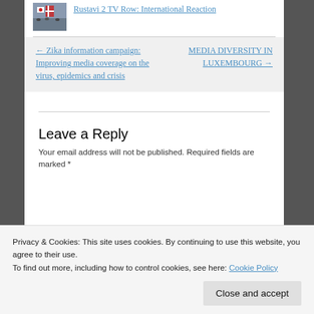[Figure (photo): Thumbnail image of people with Georgian flag at Rustavi 2 TV protest]
Rustavi 2 TV Row: International Reaction
← Zika information campaign: Improving media coverage on the virus, epidemics and crisis
MEDIA DIVERSITY IN LUXEMBOURG →
Leave a Reply
Your email address will not be published. Required fields are marked *
Privacy & Cookies: This site uses cookies. By continuing to use this website, you agree to their use. To find out more, including how to control cookies, see here: Cookie Policy
Close and accept